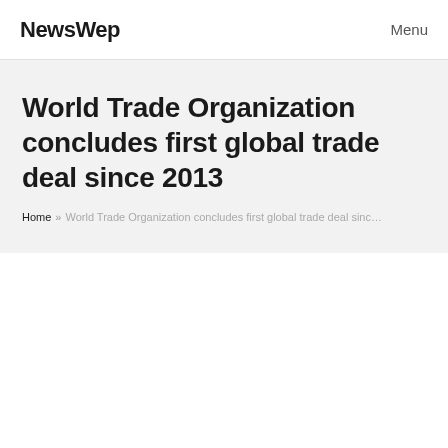NewsWep   Menu
World Trade Organization concludes first global trade deal since 2013
Home » World Trade Organization concludes first global trade deal sinc…